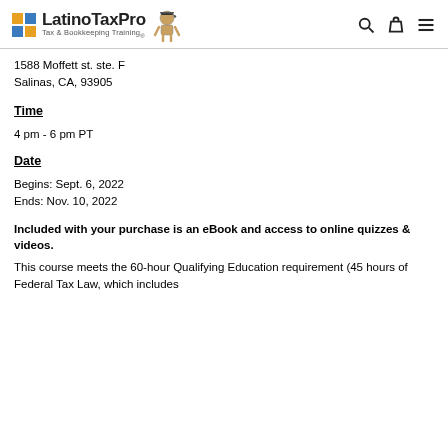LatinoTaxPro — Tax & Bookkeeping Training
1588 Moffett st. ste. F
Salinas, CA, 93905
Time
4 pm - 6 pm PT
Date
Begins: Sept. 6, 2022
Ends: Nov. 10, 2022
Included with your purchase is an eBook and access to online quizzes & videos.
This course meets the 60-hour Qualifying Education requirement (45 hours of Federal Tax Law, which includes